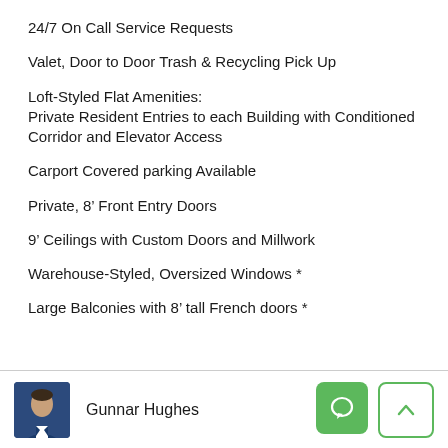24/7 On Call Service Requests
Valet, Door to Door Trash & Recycling Pick Up
Loft-Styled Flat Amenities:
Private Resident Entries to each Building with Conditioned Corridor and Elevator Access
Carport Covered parking Available
Private, 8’ Front Entry Doors
9’ Ceilings with Custom Doors and Millwork
Warehouse-Styled, Oversized Windows *
Large Balconies with 8’ tall French doors *
Gunnar Hughes